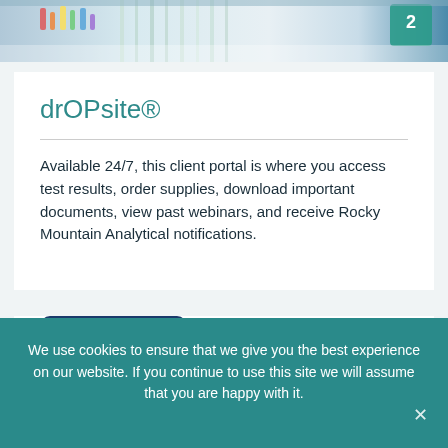[Figure (photo): Lab interior banner image showing colorful lab equipment and shelves with bright lighting]
drOPsite®
Available 24/7, this client portal is where you access test results, order supplies, download important documents, view past webinars, and receive Rocky Mountain Analytical notifications.
Learn more
We use cookies to ensure that we give you the best experience on our website. If you continue to use this site we will assume that you are happy with it.